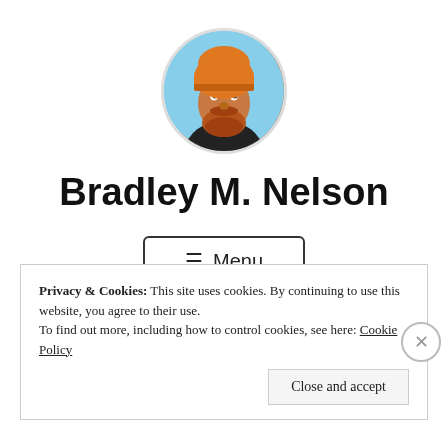[Figure (photo): Circular profile photo of a bearded man with a reddish-orange beard wearing an orange beanie hat, outdoors with blue sky background]
Bradley M. Nelson
☰ Menu
Privacy & Cookies: This site uses cookies. By continuing to use this website, you agree to their use.
To find out more, including how to control cookies, see here: Cookie Policy
Close and accept